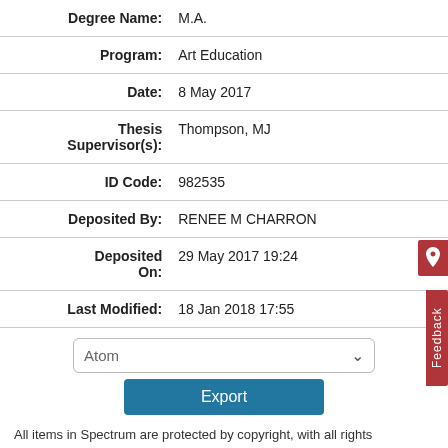| Field | Value |
| --- | --- |
| Degree Name: | M.A. |
| Program: | Art Education |
| Date: | 8 May 2017 |
| Thesis Supervisor(s): | Thompson, MJ |
| ID Code: | 982535 |
| Deposited By: | RENEE M CHARRON |
| Deposited On: | 29 May 2017 19:24 |
| Last Modified: | 18 Jan 2018 17:55 |
Atom [dropdown] Export button
All items in Spectrum are protected by copyright, with all rights